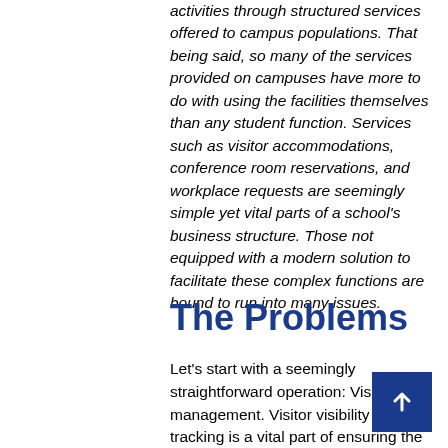administration and staff to facilitate all activities through structured services offered to campus populations. That being said, so many of the services provided on campuses have more to do with using the facilities themselves than any student function. Services such as visitor accommodations, conference room reservations, and workplace requests are seemingly simple yet vital parts of a school's business structure. Those not equipped with a modern solution to facilitate these complex functions are bound to run into many issues.
The Problems
Let's start with a seemingly straightforward operation: Visitor management. Visitor visibility and tracking is a vital part of ensuring the safety of faculty, staff, and